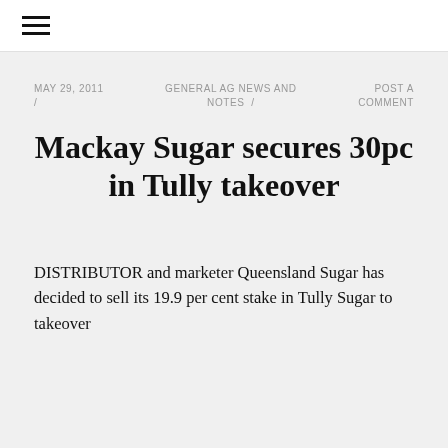☰
MAY 29, 2011 /
GENERAL AG NEWS AND NOTES /
POST A COMMENT
Mackay Sugar secures 30pc in Tully takeover
DISTRIBUTOR and marketer Queensland Sugar has decided to sell its 19.9 per cent stake in Tully Sugar to takeover